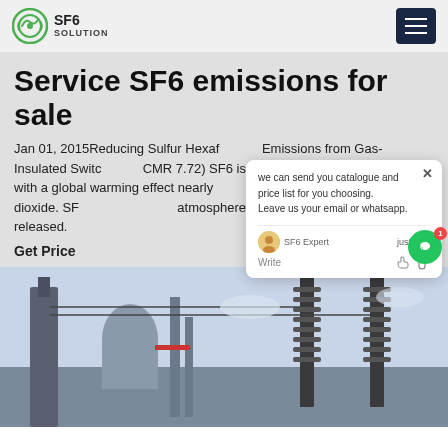SF6 SOLUTION
Service SF6 emissions for sale
Jan 01, 2015Reducing Sulfur Hexafluoride Emissions from Gas-Insulated Switchgear CMR 7.72) SF6 is a strong greenhouse gas with a global warming effect nearly 24,000 times greater than carbon dioxide. SF6 can stay in atmosphere for more than 3,000 years once released.
Get Price
[Figure (photo): Industrial electrical substation equipment including transformers and insulators]
[Figure (other): Chat popup overlay with message: we can send you catalogue and price list for you choosing. Leave us your email or whatsapp. SF6 Expert just now. Write input field.]